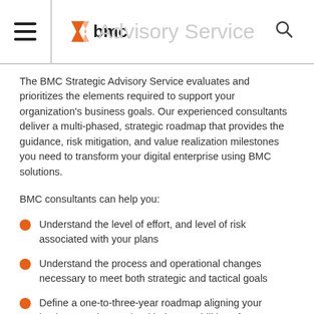BMC Strategic Advisory Service
The BMC Strategic Advisory Service evaluates and prioritizes the elements required to support your organization's business goals. Our experienced consultants deliver a multi-phased, strategic roadmap that provides the guidance, risk mitigation, and value realization milestones you need to transform your digital enterprise using BMC solutions.
BMC consultants can help you:
Understand the level of effort, and level of risk associated with your plans
Understand the process and operational changes necessary to meet both strategic and tactical goals
Define a one-to-three-year roadmap aligning your business and IT goals with the capabilities of BMC's solutions